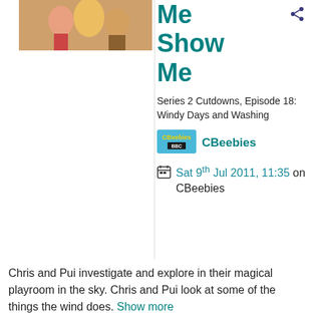[Figure (photo): Thumbnail photo of show hosts with colorful characters/puppets on a bright background]
Me Show Me
Series 2 Cutdowns, Episode 18: Windy Days and Washing
[Figure (logo): CBeebies BBC logo — teal/blue background with CBeebies text in yellow and BBC text below]
CBeebies
Sat 9th Jul 2011, 11:35 on CBeebies
Chris and Pui investigate and explore in their magical playroom in the sky. Chris and Pui look at some of the things the wind does. Show more